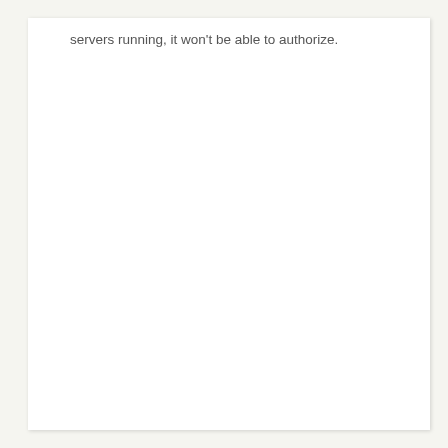servers running, it won't be able to authorize.